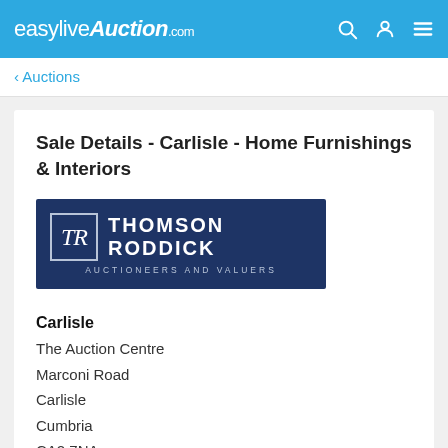easyliveAuction.com
‹ Auctions
Sale Details - Carlisle - Home Furnishings & Interiors
[Figure (logo): Thomson Roddick Auctioneers and Valuers logo — dark navy blue background with 'TR' monogram in italic serif inside a border, company name in bold white capitals, subtitle 'AUCTIONEERS AND VALUERS' in spaced caps]
Carlisle
The Auction Centre
Marconi Road
Carlisle
Cumbria
CA2 7NA
United Kingdom